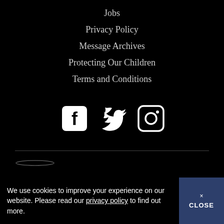Jobs
Privacy Policy
Message Archives
Protecting Our Children
Terms and Conditions
[Figure (other): Social media icons: Facebook, Twitter, Instagram]
We use cookies to improve your experience on our website. Please read our privacy policy to find out more.
× CLOSE